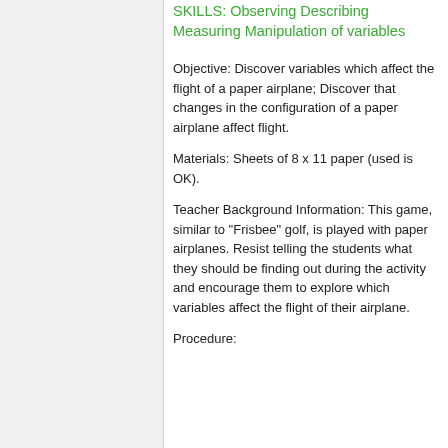SKILLS: Observing Describing Measuring Manipulation of variables
Objective: Discover variables which affect the flight of a paper airplane; Discover that changes in the configuration of a paper airplane affect flight.
Materials: Sheets of 8 x 11 paper (used is OK).
Teacher Background Information: This game, similar to "Frisbee" golf, is played with paper airplanes. Resist telling the students what they should be finding out during the activity and encourage them to explore which variables affect the flight of their airplane.
Procedure: